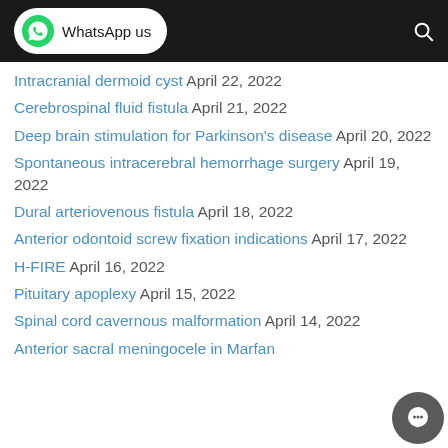WhatsApp us
Intracranial dermoid cyst April 22, 2022
Cerebrospinal fluid fistula April 21, 2022
Deep brain stimulation for Parkinson's disease April 20, 2022
Spontaneous intracerebral hemorrhage surgery April 19, 2022
Dural arteriovenous fistula April 18, 2022
Anterior odontoid screw fixation indications April 17, 2022
H-FIRE April 16, 2022
Pituitary apoplexy April 15, 2022
Spinal cord cavernous malformation April 14, 2022
Anterior sacral meningocele in Marfan